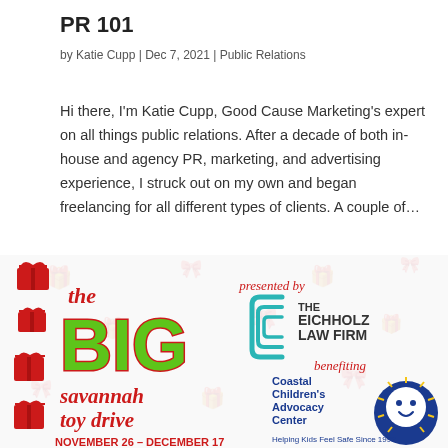PR 101
by Katie Cupp | Dec 7, 2021 | Public Relations
Hi there, I'm Katie Cupp, Good Cause Marketing's expert on all things public relations. After a decade of both in-house and agency PR, marketing, and advertising experience, I struck out on my own and began freelancing for all different types of clients. A couple of…
[Figure (illustration): The Big Savannah Toy Drive event logo presented by The Eichholz Law Firm, benefiting Coastal Children's Advocacy Center. Logo features large green 'BIG' text with red gift boxes on the left, and sponsor/beneficiary logos on the right. Text reads: NOVEMBER 26 - DECEMBER 17.]